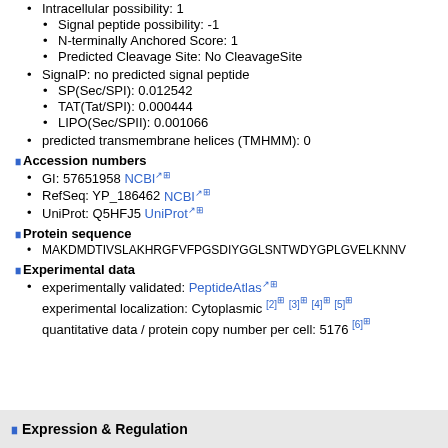Intracellular possibility: 1
Signal peptide possibility: -1
N-terminally Anchored Score: 1
Predicted Cleavage Site: No CleavageSite
SignalP: no predicted signal peptide
SP(Sec/SPI): 0.012542
TAT(Tat/SPI): 0.000444
LIPO(Sec/SPII): 0.001066
predicted transmembrane helices (TMHMM): 0
Accession numbers
GI: 57651958 NCBI
RefSeq: YP_186462 NCBI
UniProt: Q5HFJ5 UniProt
Protein sequence
MAKDMDTIVSLAKHRGFVFPGSDIYGGLSNTWDYGPLGVELKNNV
Experimental data
experimentally validated: PeptideAtlas
experimental localization: Cytoplasmic [2] [3] [4] [5]
quantitative data / protein copy number per cell: 5176 [6]
Expression & Regulation